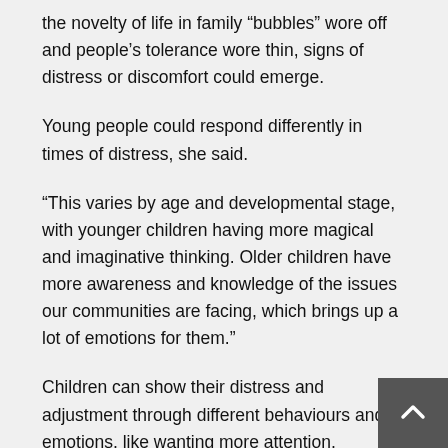the novelty of life in family “bubbles” wore off and people’s tolerance wore thin, signs of distress or discomfort could emerge.
Young people could respond differently in times of distress, she said.
“This varies by age and developmental stage, with younger children having more magical and imaginative thinking. Older children have more awareness and knowledge of the issues our communities are facing, which brings up a lot of emotions for them.”
Children can show their distress and adjustment through different behaviours and emotions, like wanting more attention, becoming irritable, becoming more anxious, asking questions about the situation, or pretending nothing is different because it is too scary.